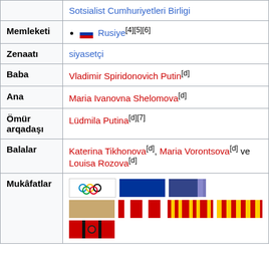| Label | Value |
| --- | --- |
|  | Sotsialist Cumhuriyetleri Birligi |
| Memleketi | • 🇷🇺 Rusiye[4][5][6] |
| Zenaatı | siyasetçi |
| Baba | Vladimir Spiridonovich Putin[d] |
| Ana | Maria Ivanovna Shelomova[d] |
| Ömür arqadaşı | Lüdmila Putina[d][7] |
| Balalar | Katerina Tikhonova[d], Maria Vorontsova[d] ve Louisa Rozova[d] |
| Mukâfatlar | [medals/ribbons] |